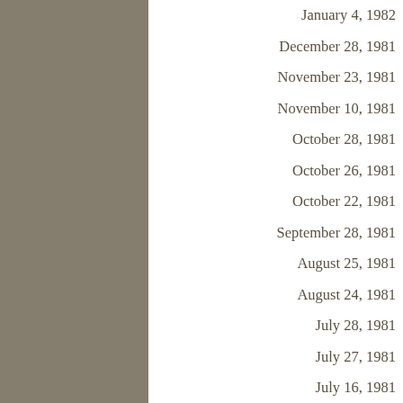January 4, 1982
December 28, 1981
November 23, 1981
November 10, 1981
October 28, 1981
October 26, 1981
October 22, 1981
September 28, 1981
August 25, 1981
August 24, 1981
July 28, 1981
July 27, 1981
July 16, 1981
June 22, 1981